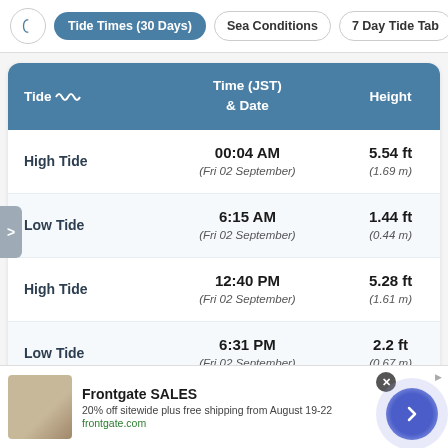Tide Times (30 Days) | Sea Conditions | 7 Day Tide Tab
| Tide | Time (JST) & Date | Height |
| --- | --- | --- |
| High Tide | 00:04 AM
(Fri 02 September) | 5.54 ft
(1.69 m) |
| Low Tide | 6:15 AM
(Fri 02 September) | 1.44 ft
(0.44 m) |
| High Tide | 12:40 PM
(Fri 02 September) | 5.28 ft
(1.61 m) |
| Low Tide | 6:31 PM
(Fri 02 September) | 2.2 ft
(0.67 m) |
[Figure (infographic): Row of sunrise/sunset and moon phase icons at bottom of tide table]
[Figure (infographic): Advertisement banner for Frontgate SALES — 20% off sitewide plus free shipping from August 19-22, frontgate.com]